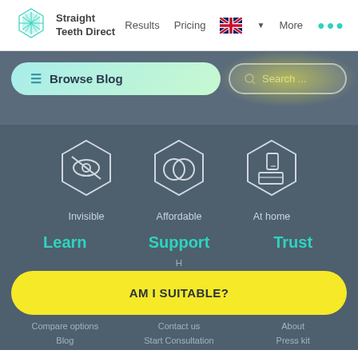Straight Teeth Direct — Results  Pricing  More
Browse Blog
Search ...
[Figure (illustration): Three hexagon icons: Invisible (eye with strikethrough), Affordable (two overlapping circles/coins), At home (phone/aligners box)]
Invisible
Affordable
At home
Learn
Support
Trust
H
AM I SUITABLE?
Compare options
Contact us
About
Blog
Start Consultation
Press kit